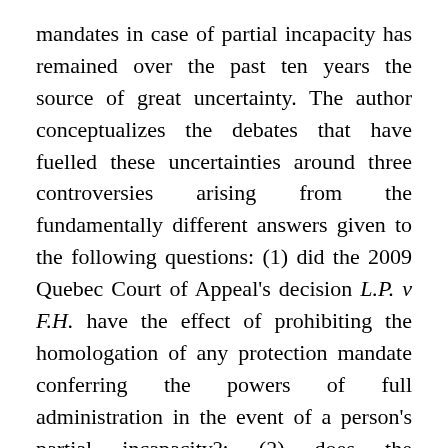mandates in case of partial incapacity has remained over the past ten years the source of great uncertainty. The author conceptualizes the debates that have fuelled these uncertainties around three controversies arising from the fundamentally different answers given to the following questions: (1) did the 2009 Quebec Court of Appeal's decision L.P. v F.H. have the effect of prohibiting the homologation of any protection mandate conferring the powers of full administration in the event of a person's partial incapacity?; (2) does the homologation of a protection mandate conferring the powers of full administration, when the principal is partially incapable and does not oppose it, limit or